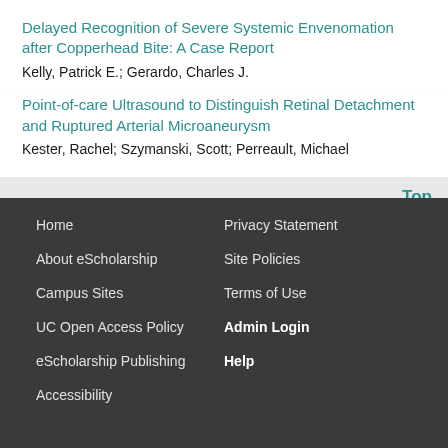Delayed Recognition of Severe Systemic Envenomation after Copperhead Bite: A Case Report
Kelly, Patrick E.; Gerardo, Charles J.
Point-of-care Ultrasound to Distinguish Retinal Detachment and Ruptured Arterial Microaneurysm
Kester, Rachel; Szymanski, Scott; Perreault, Michael
Top
Home
Privacy Statement
About eScholarship
Site Policies
Campus Sites
Terms of Use
UC Open Access Policy
Admin Login
eScholarship Publishing
Help
Accessibility